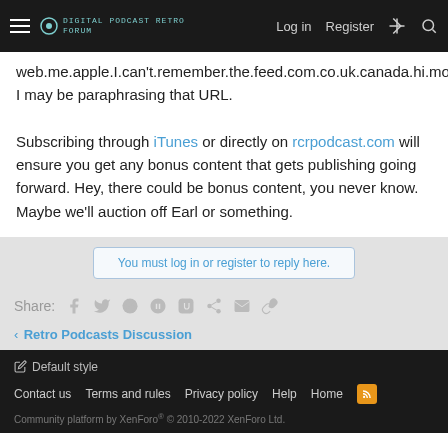Navigation bar with hamburger menu, site logo, Log in, Register, and search icons
web.me.apple.I.can't.remember.the.feed.com.co.uk.canada.hi.mom. I may be paraphrasing that URL.
Subscribing through iTunes or directly on rcrpodcast.com will ensure you get any bonus content that gets publishing going forward. Hey, there could be bonus content, you never know. Maybe we'll auction off Earl or something.
You must log in or register to reply here.
Share:
Retro Podcasts Discussion
Default style | Contact us | Terms and rules | Privacy policy | Help | Home | Community platform by XenForo® © 2010-2022 XenForo Ltd.